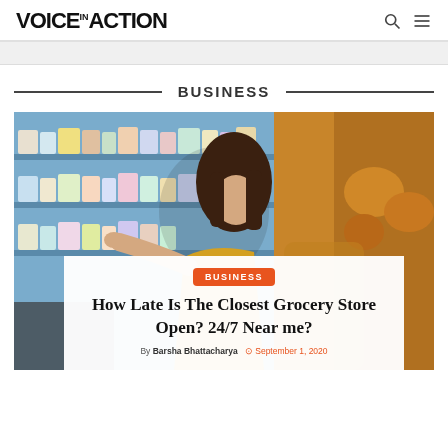VOICE IN ACTION
BUSINESS
[Figure (photo): Woman in yellow top reaching for products on a grocery store shelf with colorful packaged goods in the background]
How Late Is The Closest Grocery Store Open? 24/7 Near me?
By Barsha Bhattacharya  September 1, 2020